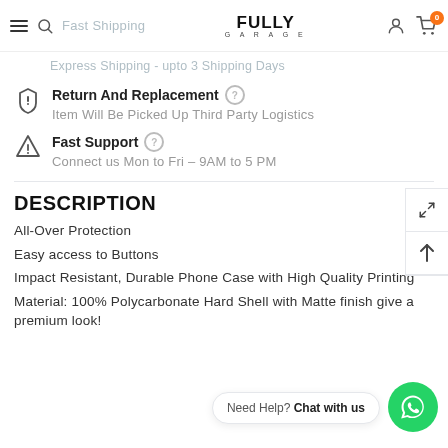Fully Garage - Fast Shipping (nav bar)
Express Shipping - upto 3 Shipping Days
Return And Replacement
Item Will Be Picked Up Third Party Logistics
Fast Support
Connect us Mon to Fri – 9AM to 5 PM
DESCRIPTION
All-Over Protection
Easy access to Buttons
Impact Resistant, Durable Phone Case with High Quality Printing
Material: 100% Polycarbonate Hard Shell with Matte finish give a premium look!